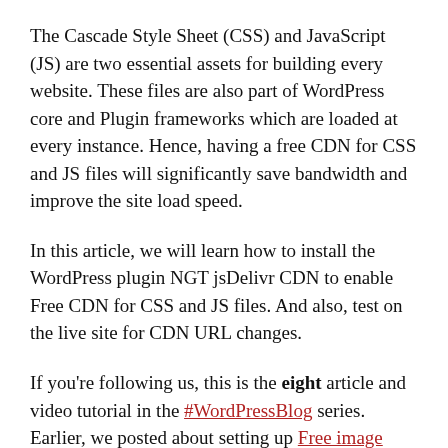The Cascade Style Sheet (CSS) and JavaScript (JS) are two essential assets for building every website. These files are also part of WordPress core and Plugin frameworks which are loaded at every instance. Hence, having a free CDN for CSS and JS files will significantly save bandwidth and improve the site load speed.
In this article, we will learn how to install the WordPress plugin NGT jsDelivr CDN to enable Free CDN for CSS and JS files. And also, test on the live site for CDN URL changes.
If you're following us, this is the eight article and video tutorial in the #WordPressBlog series. Earlier, we posted about setting up Free image CDN on WordPress using Photon CDN.
Without further ado, let's get started with setting up free